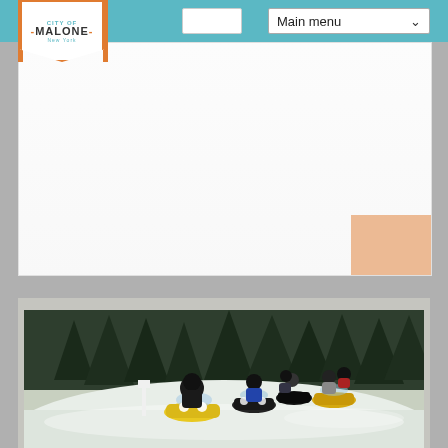[Figure (screenshot): Website header with teal navigation bar, Malone city logo with orange accents, and Main menu dropdown selector]
[Figure (photo): Group of snowmobilers riding in a line through a snowy forest trail. Lead snowmobile is yellow, riders are wearing helmets and winter gear.]